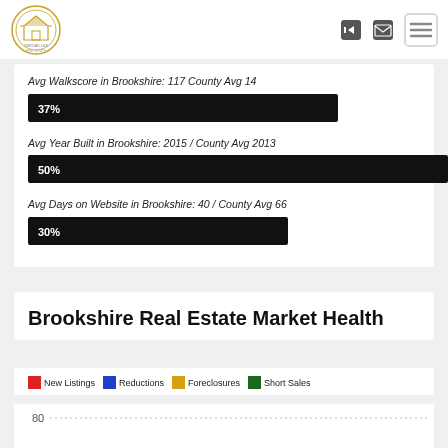Versailles Real Estate logo and navigation icons
Avg Walkscore in Brookshire: 117 County Avg 14
[Figure (bar-chart): Avg Walkscore]
Avg Year Built in Brookshire: 2015 / County Avg 2013
[Figure (bar-chart): Avg Year Built]
Avg Days on Website in Brookshire: 40 / County Avg 66
[Figure (bar-chart): Avg Days on Website]
Brookshire Real Estate Market Health
[Figure (bar-chart): Legend showing New Listings (red), Reductions (blue), Foreclosures (gold), Short Sales (green). Y-axis shows 80.]